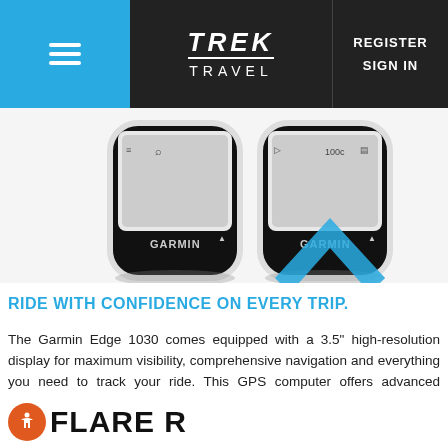TREK TRAVEL | REGISTER SIGN IN
[Figure (photo): Two Garmin Edge 1030 GPS cycling computers shown side by side against a white background]
RIDE WITH CONFIDENCE ON EVERY TRIP.
The Garmin Edge 1030 comes equipped with a 3.5" high-resolution display for maximum visibility, comprehensive navigation and everything you need to track your ride. This GPS computer offers advanced performance monitoring, turn-by-turn navigation, and the Garmin Cycle Map, which notifies you of upcoming turns, elevation data, points of interest and new route generation to explore a destination on your terms. Simple to use, turn by turn instructions at the tip of your finger with the day's ride pre-loaded for you, plus all the standard information you need. And don't worry, we still have paper directions available if you prefer.
FLARE R